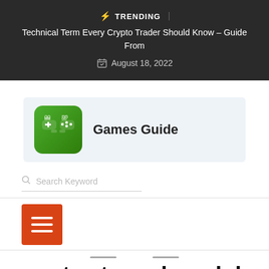⚡ TRENDING | Technical Term Every Crypto Trader Should Know – Guide From | August 18, 2022
[Figure (logo): Games Guide logo banner with green gaming controller icon on a light blue-grey background, text: Games Guide]
Search Keyword
[Figure (infographic): Orange/red hamburger menu icon button (three white horizontal lines on orange-red square)]
sports stores honolulu